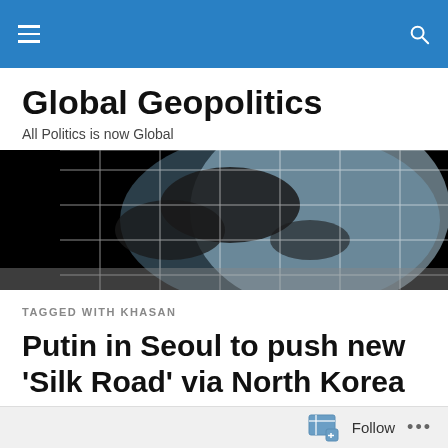Global Geopolitics — nav bar with hamburger menu and search icon
Global Geopolitics
All Politics is now Global
[Figure (photo): Globe image on dark/black background showing world map grid lines, blue and dark tones]
TAGGED WITH KHASAN
Putin in Seoul to push new 'Silk Road' via North Korea
Follow ...